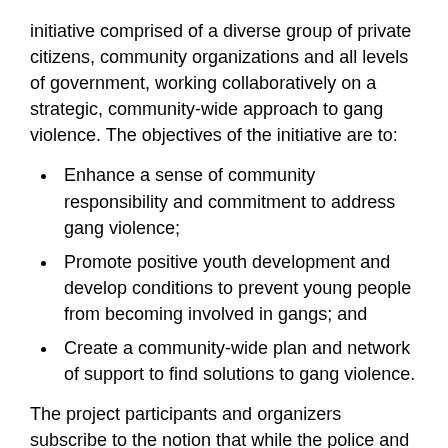initiative comprised of a diverse group of private citizens, community organizations and all levels of government, working collaboratively on a strategic, community-wide approach to gang violence. The objectives of the initiative are to:
Enhance a sense of community responsibility and commitment to address gang violence;
Promote positive youth development and develop conditions to prevent young people from becoming involved in gangs; and
Create a community-wide plan and network of support to find solutions to gang violence.
The project participants and organizers subscribe to the notion that while the police and the justice system play a major role in the enforcement and suppression of gang violence, it is the community that is best positioned to address the underlying causes of gang violence and mobilize people to take measures to prevent young people from being drawn into gangs. The initiative has a number of